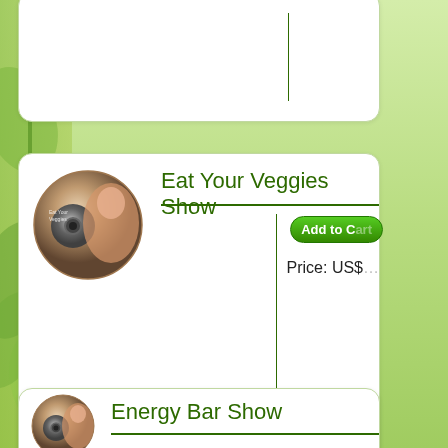[Figure (screenshot): Partial top card - product listing card, cut off at top]
Eat Your Veggies Show
[Figure (photo): DVD/CD product image for Eat Your Veggies Show]
Add to Cart
Price: US$
Energy Bar Show
[Figure (photo): DVD/CD product image for Energy Bar Show]